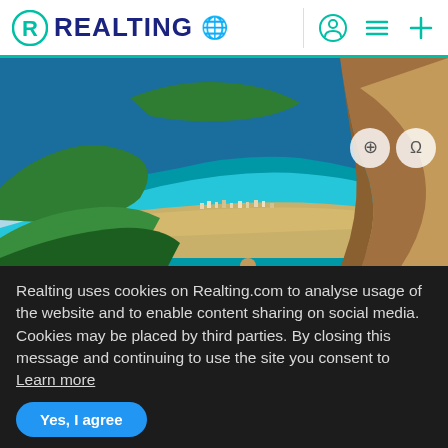REALTING
[Figure (photo): Aerial coastal view of a turquoise bay with a sandy beach, forested hills, and a town, viewed from rocky cliffs with a person sitting in the foreground]
«Don't always believe a realtor who offers you to buy
Realting uses cookies on Realting.com to analyse usage of the website and to enable content sharing on social media. Cookies may be placed by third parties. By closing this message and continuing to use the site you consent to Learn more
Yes, I agree